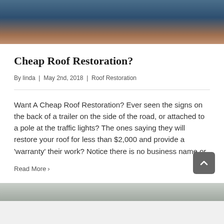[Figure (photo): Partial photo of a person wearing a dark blue top, cropped at the top of the page]
Cheap Roof Restoration?
By linda | May 2nd, 2018 | Roof Restoration
Want A Cheap Roof Restoration? Ever seen the signs on the back of a trailer on the side of the road, or attached to a pole at the traffic lights? The ones saying they will restore your roof for less than $2,000 and provide a 'warranty' their work? Notice there is no business name or
Read More >
[Figure (photo): Partial photo visible at the bottom of the page, cropped]